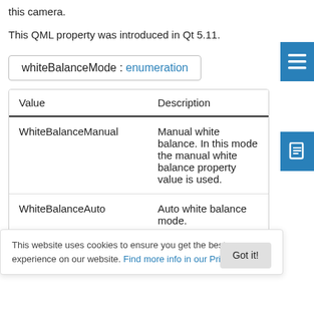this camera.
This QML property was introduced in Qt 5.11.
whiteBalanceMode : enumeration
| Value | Description |
| --- | --- |
| WhiteBalanceManual | Manual white balance. In this mode the manual white balance property value is used. |
| WhiteBalanceAuto | Auto white balance mode. |
| WhiteBalanceCloudy | Cloudy white balance |
This website uses cookies to ensure you get the best experience on our website. Find more info in our Privacy Policy